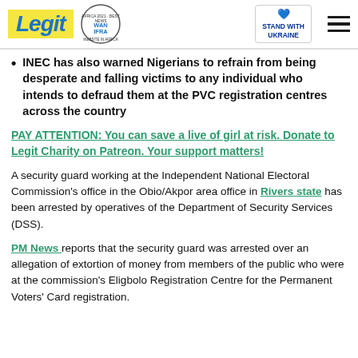Legit | WAN IFRA 2021 Best News Website in Africa | Stand with Ukraine
INEC has also warned Nigerians to refrain from being desperate and falling victims to any individual who intends to defraud them at the PVC registration centres across the country
PAY ATTENTION: You can save a live of girl at risk. Donate to Legit Charity on Patreon. Your support matters!
A security guard working at the Independent National Electoral Commission's office in the Obio/Akpor area office in Rivers state has been arrested by operatives of the Department of Security Services (DSS).
PM News reports that the security guard was arrested over an allegation of extortion of money from members of the public who were at the commission's Eligbolo Registration Centre for the Permanent Voters' Card registration.